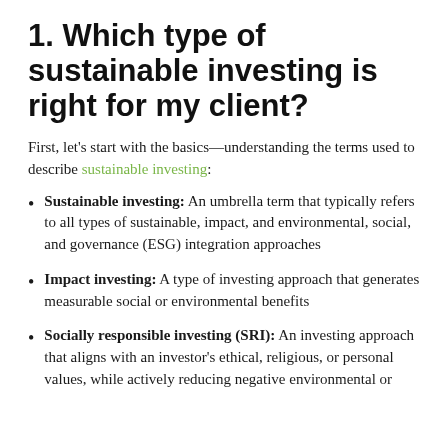1. Which type of sustainable investing is right for my client?
First, let's start with the basics—understanding the terms used to describe sustainable investing:
Sustainable investing: An umbrella term that typically refers to all types of sustainable, impact, and environmental, social, and governance (ESG) integration approaches
Impact investing: A type of investing approach that generates measurable social or environmental benefits
Socially responsible investing (SRI): An investing approach that aligns with an investor's ethical, religious, or personal values, while actively reducing negative environmental or